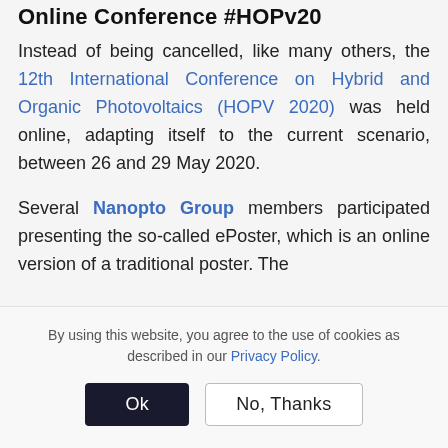Online Conference #HOPv20
Instead of being cancelled, like many others, the 12th International Conference on Hybrid and Organic Photovoltaics (HOPV 2020) was held online, adapting itself to the current scenario, between 26 and 29 May 2020.
Several Nanopto Group members participated presenting the so-called ePoster, which is an online version of a traditional poster. The
By using this website, you agree to the use of cookies as described in our Privacy Policy.